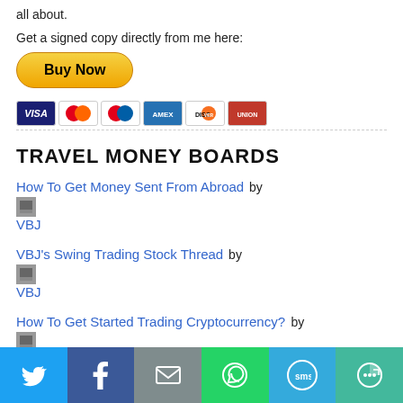all about.
Get a signed copy directly from me here:
[Figure (screenshot): Yellow 'Buy Now' PayPal button followed by payment card icons (Visa, Mastercard, Maestro, American Express, Discover, UnionPay)]
TRAVEL MONEY BOARDS
How To Get Money Sent From Abroad by VBJ
VBJ's Swing Trading Stock Thread by VBJ
How To Get Started Trading Cryptocurrency? by VBJ
[Figure (infographic): Social sharing bar with icons: Twitter (blue), Facebook (dark blue), Email (grey), WhatsApp (green), SMS (light blue), More (teal)]